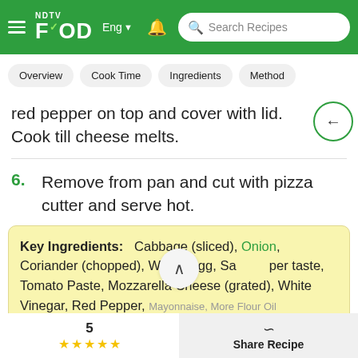NDTV Food — Eng | Search Recipes
Overview
Cook Time
Ingredients
Method
red pepper on top and cover with lid. Cook till cheese melts.
6. Remove from pan and cut with pizza cutter and serve hot.
Key Ingredients: Cabbage (sliced), Onion, Coriander (chopped), Whole Egg, Salt per taste, Tomato Paste, Mozzarella Cheese (grated), White Vinegar, Red Pepper, Mayonnaise, More Flour, Oil...
5 ★★★★★   Share Recipe